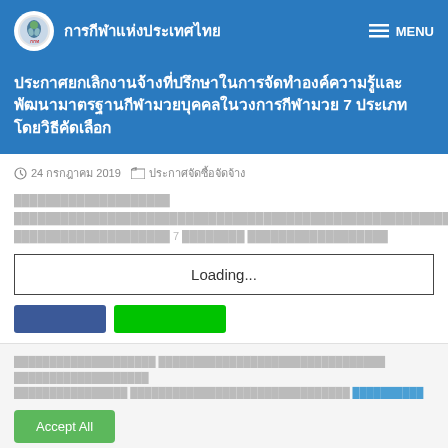การกีฬาแห่งประเทศไทย  MENU
ประกาศยกเลิกงานจ้างที่ปรึกษาในการจัดทำองค์ความรู้และพัฒนามาตรฐานกีฬามวยบุคคลในวงการกีฬามวย 7 ประเภท โดยวิธีคัดเลือก
24 กรกฎาคม 2019  ประกาศจัดซื้อจัดจ้าง
ประกาศยกเลิกงานจ้างที่ปรึกษาในการจัดทำองค์ความรู้และพัฒนามาตรฐานกีฬามวยบุคคลในวงการกีฬามวย 7 ประเภท โดยวิธีคัดเลือก
[Figure (other): Loading... box - document embed loading placeholder]
[Figure (other): Social share buttons: Facebook (blue) and Line (green)]
ประกาศยกเลิกงานจ้างที่ปรึกษาในการจัดทำองค์ความรู้ ประกาศยกเลิกงานจ้างที่ปรึกษาในการจัดทำ ประกาศยกเลิกงานจ้างที่ปรึกษา ประกาศยกเลิกงานจ้างที่ปรึกษา ประกาศยกเลิกงานจ้างที่ปรึกษาในการจัดทำองค์ความรู้ คุกกี้
Accept All